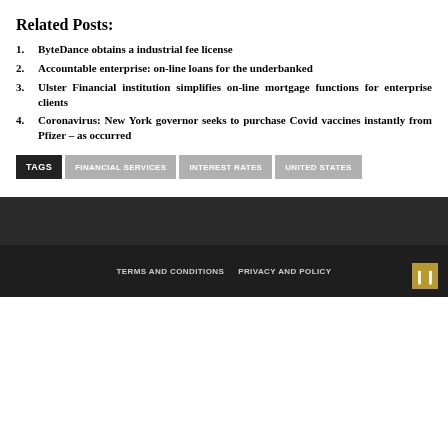Related Posts:
ByteDance obtains a industrial fee license
Accountable enterprise: on-line loans for the underbanked
Ulster Financial institution simplifies on-line mortgage functions for enterprise clients
Coronavirus: New York governor seeks to purchase Covid vaccines instantly from Pfizer – as occurred
TAGS  FINANCIAL SERVICES  INTEREST RATES  UNITED STATES
TERMS AND CONDITIONS   PRIVACY AND POLICY